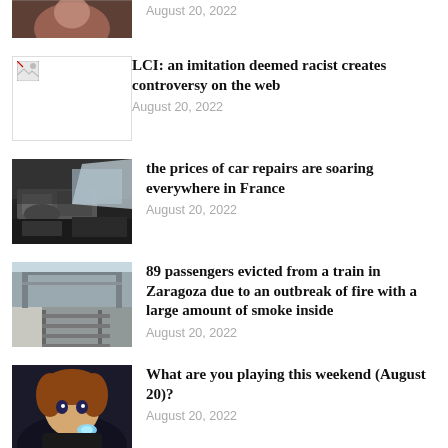[Figure (photo): Partially visible photo at top (cropped), showing a face/person]
August 20, 2022
[Figure (photo): Broken image placeholder with small icon]
LCI: an imitation deemed racist creates controversy on the web
August 20, 2022
[Figure (photo): Photo of a car engine being repaired by a mechanic]
the prices of car repairs are soaring everywhere in France
August 20, 2022
[Figure (photo): Photo of a train station platform with tracks and overhead structures]
89 passengers evicted from a train in Zaragoza due to an outbreak of fire with a large amount of smoke inside
August 20, 2022
[Figure (photo): Anime-style illustration of a young woman holding something glowing, against dark background]
What are you playing this weekend (August 20)?
August 20, 2022